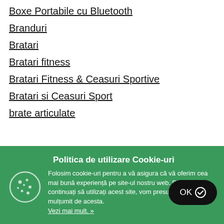Boxe Portabile cu Bluetooth
Branduri
Bratari
Bratari fitness
Bratari Fitness & Ceasuri Sportive
Bratari si Ceasuri Sport
brate articulate
[Figure (infographic): Cookie consent banner with green background, cookie icon, title 'Politica de utilizare Cookie-uri', explanatory text, 'Vezi mai mult. »' link, and black OK button with checkmark]
Politica de utilizare Cookie-uri
Folosim cookie-uri pentru a vă asigura că vă oferim cea mai bună experiență pe site-ul nostru web. Dacă continuați să utilizați acest site, vom presupune că sunteți mulțumit de acesta.
Vezi mai mult. »